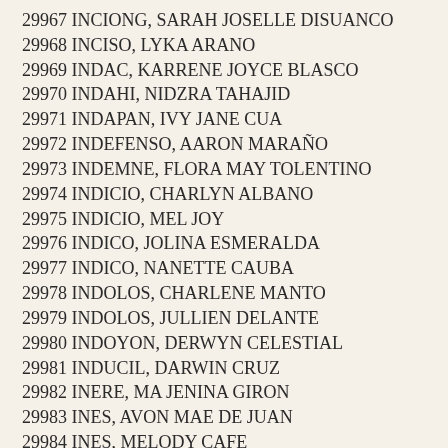29967 INCIONG, SARAH JOSELLE DISUANCO
29968 INCISO, LYKA ARANO
29969 INDAC, KARRENE JOYCE BLASCO
29970 INDAHI, NIDZRA TAHAJID
29971 INDAPAN, IVY JANE CUA
29972 INDEFENSO, AARON MARAÑO
29973 INDEMNE, FLORA MAY TOLENTINO
29974 INDICIO, CHARLYN ALBANO
29975 INDICIO, MEL JOY
29976 INDICO, JOLINA ESMERALDA
29977 INDICO, NANETTE CAUBA
29978 INDOLOS, CHARLENE MANTO
29979 INDOLOS, JULLIEN DELANTE
29980 INDOYON, DERWYN CELESTIAL
29981 INDUCIL, DARWIN CRUZ
29982 INERE, MA JENINA GIRON
29983 INES, AVON MAE DE JUAN
29984 INES, MELODY CAFE
29985 INFANTE, APPLE JANE PLAZA
29986 INFANTE, BIA PATRICIA SERPA JUAN
29987 INFANTE, CHERRY QUILON
29988 INFANTE, GLADYS RIVERA